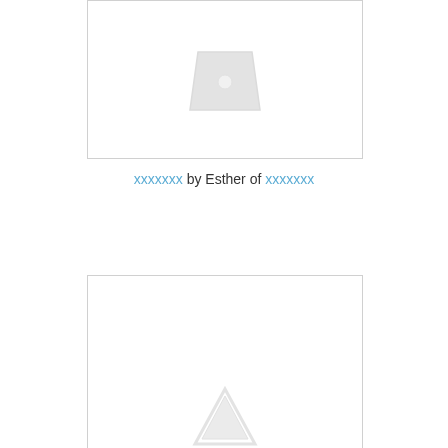[Figure (photo): Image placeholder box at top with a warning/image-missing triangle icon in gray]
xxxxxxx by Esther of xxxxxxx
[Figure (photo): Image placeholder box at bottom with a warning/image-missing triangle icon in gray (partially visible)]